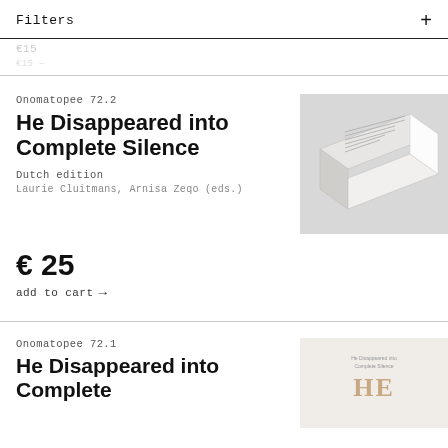Filters
Onomatopee 72.2
He Disappeared into Complete Silence
Dutch edition
Laurie Cluitmans, Arnisa Zeqo (eds.)
[Figure (photo): A photograph of a white/grey book lying open at an angle, showing stacked pages with small printed text visible on the cover.]
€ 25
add to cart →
Onomatopee 72.1
He Disappeared into Complete
[Figure (photo): A partially visible book cover showing 'HE' in large text on a light beige/white background.]